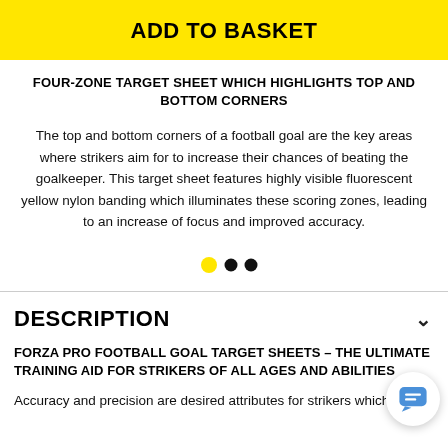ADD TO BASKET
FOUR-ZONE TARGET SHEET WHICH HIGHLIGHTS TOP AND BOTTOM CORNERS
The top and bottom corners of a football goal are the key areas where strikers aim for to increase their chances of beating the goalkeeper. This target sheet features highly visible fluorescent yellow nylon banding which illuminates these scoring zones, leading to an increase of focus and improved accuracy.
[Figure (other): Carousel navigation dots — one yellow dot and two black dots]
DESCRIPTION
FORZA PRO FOOTBALL GOAL TARGET SHEETS – THE ULTIMATE TRAINING AID FOR STRIKERS OF ALL AGES AND ABILITIES
Accuracy and precision are desired attributes for strikers which take